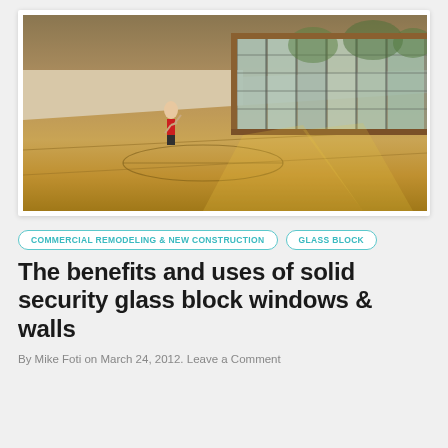[Figure (photo): Indoor gymnasium or sports court with wooden floor, glass block windows along the right wall letting in light patterns on the floor, wooden ceiling, and a person in red in the background.]
COMMERCIAL REMODELING & NEW CONSTRUCTION
GLASS BLOCK
The benefits and uses of solid security glass block windows & walls
By Mike Foti on March 24, 2012. Leave a Comment